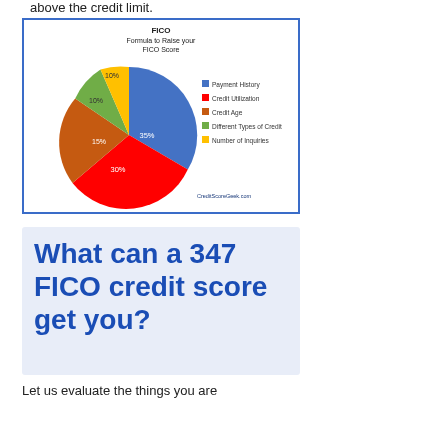above the credit limit.
[Figure (pie-chart): FICO Formula to Raise your FICO Score]
What can a 347 FICO credit score get you?
Let us evaluate the things you are